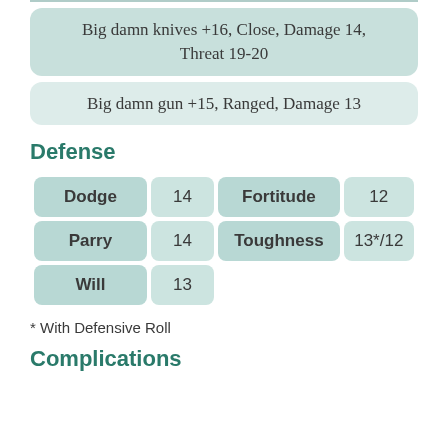Big damn knives +16, Close, Damage 14, Threat 19-20
Big damn gun +15, Ranged, Damage 13
Defense
| Dodge | 14 | Fortitude | 12 |
| --- | --- | --- | --- |
| Parry | 14 | Toughness | 13*/12 |
| Will | 13 |  |  |
* With Defensive Roll
Complications